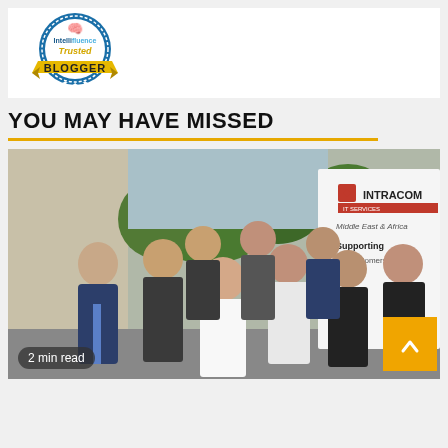[Figure (logo): Intellifluence Trusted Blogger badge — circular blue badge with brain icon, gold ribbon banner reading BLOGGER, stars at bottom]
YOU MAY HAVE MISSED
[Figure (photo): Group photo of approximately 9 professionals (men and women) standing outdoors in front of a building and a banner reading INTRACOM IT SERVICES. Text on banner includes 'Supporting our customers mission'. A '2 min read' badge appears in the lower left corner.]